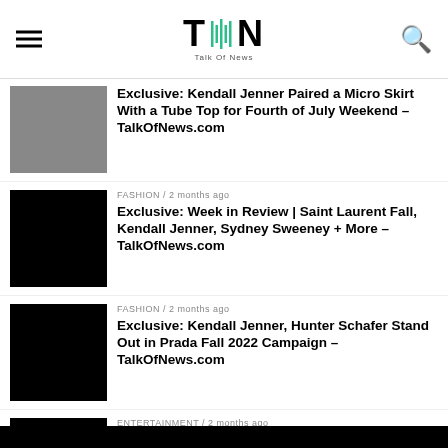TON Talk Of News
[Figure (photo): Celebrity photo thumbnail]
Exclusive: Kendall Jenner Paired a Micro Skirt With a Tube Top for Fourth of July Weekend – TalkOfNews.com
[Figure (photo): Black placeholder thumbnail]
FASHION / 2 months ago
Exclusive: Week in Review | Saint Laurent Fall, Kendall Jenner, Sydney Sweeney + More – TalkOfNews.com
[Figure (photo): Black placeholder thumbnail]
FASHION / 2 months ago
Exclusive: Kendall Jenner, Hunter Schafer Stand Out in Prada Fall 2022 Campaign – TalkOfNews.com
[Figure (photo): Black placeholder thumbnail]
ENTERTAINMENT / 2 months ago
Exclusive: Big Time Rush's Kendall Schmidt Engaged to Girlfriend Mica von Turkovich After 7 Years – TalkOfNews.com